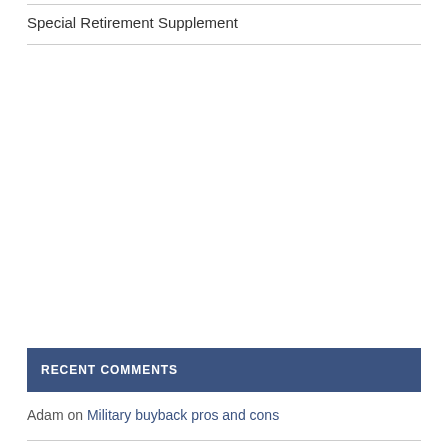Special Retirement Supplement
RECENT COMMENTS
Adam on Military buyback pros and cons